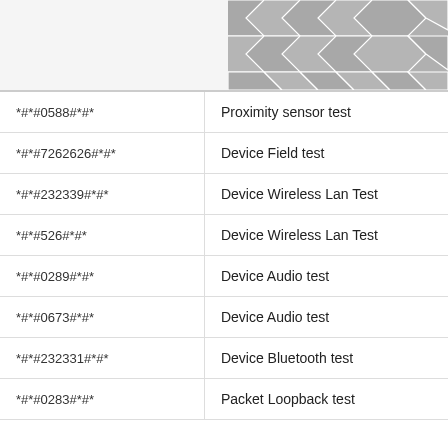[Figure (illustration): Geometric hexagonal pattern in gray tones in top-right corner of page header]
| *#*#0588#*#* | Proximity sensor test |
| *#*#7262626#*#* | Device Field test |
| *#*#232339#*#* | Device Wireless Lan Test |
| *#*#526#*#* | Device Wireless Lan Test |
| *#*#0289#*#* | Device Audio test |
| *#*#0673#*#* | Device Audio test |
| *#*#232331#*#* | Device Bluetooth test |
| *#*#0283#*#* | Packet Loopback test |